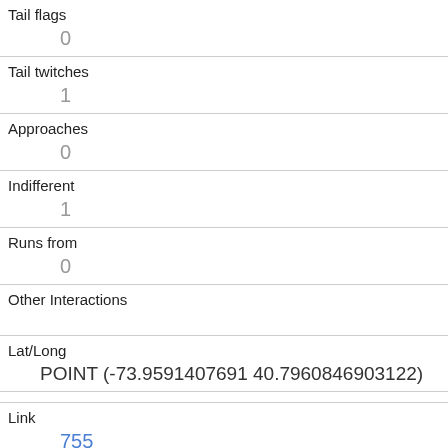| Tail flags | 0 |
| Tail twitches | 1 |
| Approaches | 0 |
| Indifferent | 1 |
| Runs from | 0 |
| Other Interactions |  |
| Lat/Long | POINT (-73.9591407691 40.7960846903122) |
| Link | 755 |
| rowid | 755 |
| longitude | -73.9579941847434 |